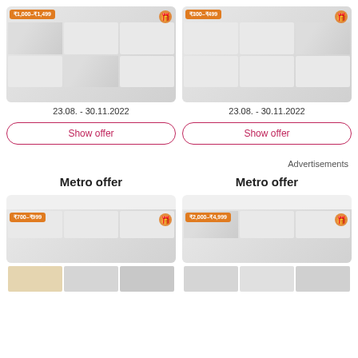[Figure (other): Metro offer catalog image showing products in price range ₹1,000–₹1,499 with grid of home appliances and bedding]
23.08. - 30.11.2022
[Figure (other): Metro offer catalog image showing products in price range ₹300–₹499 with grid of kitchenware and appliances]
23.08. - 30.11.2022
Show offer
Show offer
Advertisements
Metro offer
Metro offer
[Figure (other): Metro offer catalog image showing products in price range ₹700–₹999]
[Figure (other): Metro offer catalog image showing products in price range ₹2,000–₹4,999 with GLEN appliance and Panasonic]